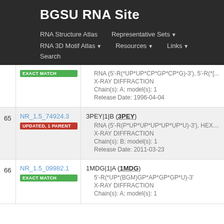BGSU RNA Site
RNA Structure Atlas | Representative Sets ▼ | RNA 3D Motif Atlas ▼ | Resources ▼ | Links ▼ | Search
| # | ID | Details |
| --- | --- | --- |
|  |  | RNA (5'-R(*UP*UP*CP*GP*CP*G)-3'), 5'-R(*[... | X-RAY DIFFRACTION | Chain(s): A; model(s): 1 | Release Date: 1996-04-04 |
| 65 | NR_1.5_74924.3 UPDATED, 1 PARENT | 3PEY|1|B (3PEY) | RNA (5'-R(P*UP*UP*UP*UP*UP*U)-3'), HEXA ... | X-RAY DIFFRACTION | Chain(s): B; model(s): 1 | Release Date: 2011-03-23 |
| 66 | NR_1.5_09982.1 EXACT MATCH | 1MDG|1|A (1MDG) | 5'-R(*UP*(BGM)GP*AP*GP*GP*U)-3' | X-RAY DIFFRACTION | Chain(s): A; model(s): 1 |